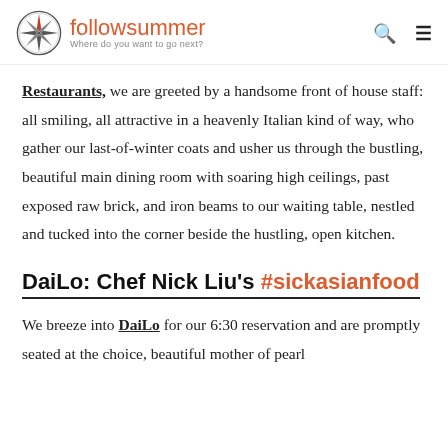followsummer — Where do you want to go next?
Restaurants, we are greeted by a handsome front of house staff: all smiling, all attractive in a heavenly Italian kind of way, who gather our last-of-winter coats and usher us through the bustling, beautiful main dining room with soaring high ceilings, past exposed raw brick, and iron beams to our waiting table, nestled and tucked into the corner beside the hustling, open kitchen.
DaiLo: Chef Nick Liu's #sickasianfood
We breeze into DaiLo for our 6:30 reservation and are promptly seated at the choice, beautiful mother of pearl